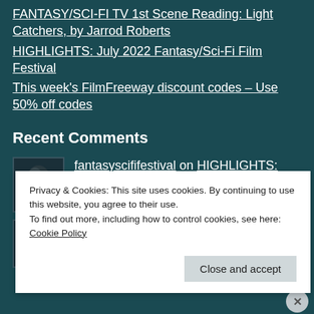FANTASY/SCI-FI TV 1st Scene Reading: Light Catchers, by Jarrod Roberts
HIGHLIGHTS: July 2022 Fantasy/Sci-Fi Film Festival
This week's FilmFreeway discount codes – Use 50% off codes
Recent Comments
fantasyscififestival on HIGHLIGHTS: June
Privacy & Cookies: This site uses cookies. By continuing to use this website, you agree to their use. To find out more, including how to control cookies, see here: Cookie Policy
Close and accept
Sydow (19…